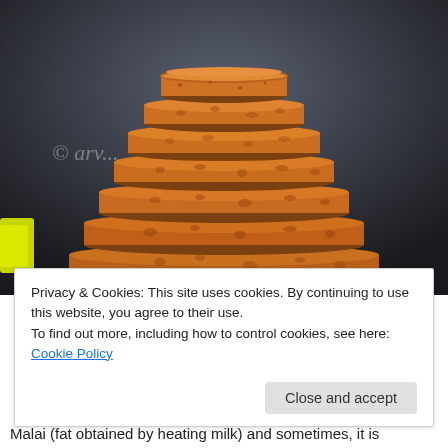[Figure (photo): A stack of round sponge cake layers (ghevar or similar Indian sweet) piled in a tiered pyramid shape, photographed close-up against a dark background. A watermark reads 'JAIPURTHRUMYLENS' at the bottom left, and a copyright symbol with text 'arv...' is overlaid in the middle left.]
Privacy & Cookies: This site uses cookies. By continuing to use this website, you agree to their use.
To find out more, including how to control cookies, see here: Cookie Policy
Close and accept
Malai (fat obtained by heating milk) and sometimes, it is